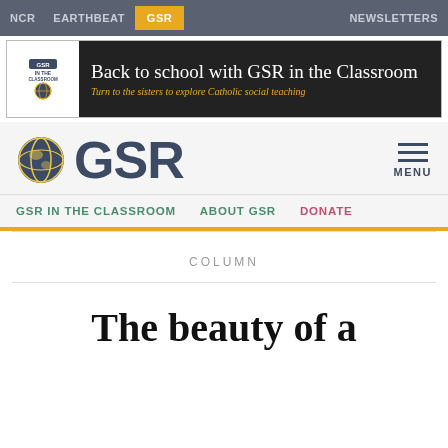NCR   EARTHBEAT   GSR   NEWSLETTERS
[Figure (illustration): GSR In The Classroom banner ad with globe logo, dark chalkboard background. Text: Back to school with GSR in the Classroom. Turn to the sisters to explore Catholic social teaching.]
GSR
GSR IN THE CLASSROOM   ABOUT GSR   DONATE
COLUMN
The beauty of a